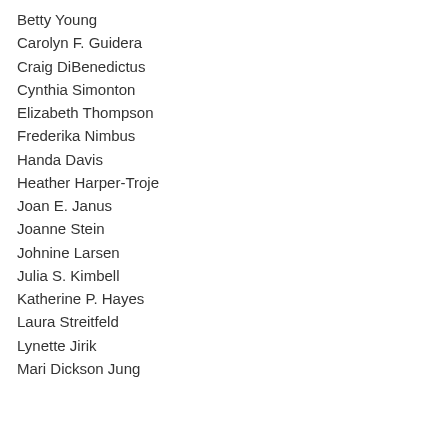Betty Young
Carolyn F. Guidera
Craig DiBenedictus
Cynthia Simonton
Elizabeth Thompson
Frederika Nimbus
Handa Davis
Heather Harper-Troje
Joan E. Janus
Joanne Stein
Johnine Larsen
Julia S. Kimbell
Katherine P. Hayes
Laura Streitfeld
Lynette Jirik
Mari Dickson Jung